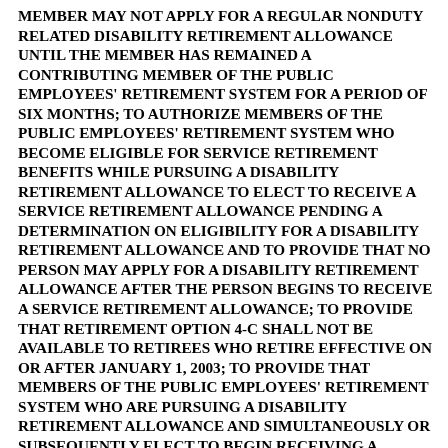MEMBER MAY NOT APPLY FOR A REGULAR NONDUTY RELATED DISABILITY RETIREMENT ALLOWANCE UNTIL THE MEMBER HAS REMAINED A CONTRIBUTING MEMBER OF THE PUBLIC EMPLOYEES' RETIREMENT SYSTEM FOR A PERIOD OF SIX MONTHS; TO AUTHORIZE MEMBERS OF THE PUBLIC EMPLOYEES' RETIREMENT SYSTEM WHO BECOME ELIGIBLE FOR SERVICE RETIREMENT BENEFITS WHILE PURSUING A DISABILITY RETIREMENT ALLOWANCE TO ELECT TO RECEIVE A SERVICE RETIREMENT ALLOWANCE PENDING A DETERMINATION ON ELIGIBILITY FOR A DISABILITY RETIREMENT ALLOWANCE AND TO PROVIDE THAT NO PERSON MAY APPLY FOR A DISABILITY RETIREMENT ALLOWANCE AFTER THE PERSON BEGINS TO RECEIVE A SERVICE RETIREMENT ALLOWANCE; TO PROVIDE THAT RETIREMENT OPTION 4-C SHALL NOT BE AVAILABLE TO RETIREES WHO RETIRE EFFECTIVE ON OR AFTER JANUARY 1, 2003; TO PROVIDE THAT MEMBERS OF THE PUBLIC EMPLOYEES' RETIREMENT SYSTEM WHO ARE PURSUING A DISABILITY RETIREMENT ALLOWANCE AND SIMULTANEOUSLY OR SUBSEQUENTLY ELECT TO BEGIN RECEIVING A RETIREMENT ALLOWANCE WHILE CONTINUING TO PURSUE A DISABILITY RETIREMENT ALLOWANCE SHALL NOT BE ELIGIBLE TO SELECT OPTION 4-C OR OPTION 6; TO REVISE THE MANNER IN